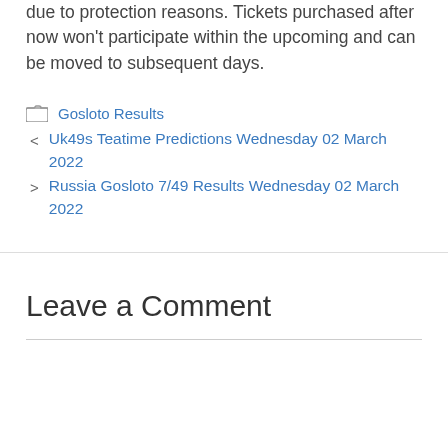time)), at that point the sale is discontinued due to protection reasons. Tickets purchased after now won't participate within the upcoming and can be moved to subsequent days.
Gosloto Results
Uk49s Teatime Predictions Wednesday 02 March 2022
Russia Gosloto 7/49 Results Wednesday 02 March 2022
Leave a Comment